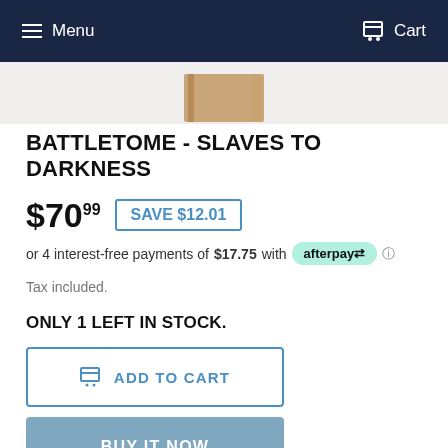Menu  Cart
[Figure (photo): Partial view of a product book/box at top of page]
BATTLETOME - SLAVES TO DARKNESS
$70.99  SAVE $12.01
or 4 interest-free payments of $17.75 with afterpay
Tax included.
ONLY 1 LEFT IN STOCK.
ADD TO CART
BUY IT NOW